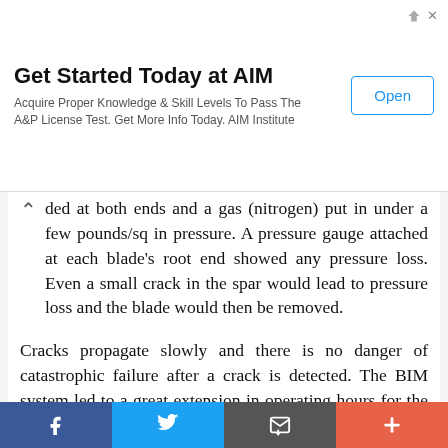[Figure (other): Advertisement banner: 'Get Started Today at AIM' with subtext 'Acquire Proper Knowledge & Skill Levels To Pass The A&P License Test. Get More Info Today. AIM Institute' and an 'Open' button.]
ded at both ends and a gas (nitrogen) put in under a few pounds/sq in pressure. A pressure gauge attached at each blade's root end showed any pressure loss. Even a small crack in the spar would lead to pressure loss and the blade would then be removed.
Cracks propagate slowly and there is no danger of catastrophic failure after a crack is detected. The BIM system led to a great extension in operating hours for the blades, allowing them to be retired “on condition” and not at any set number of hours. There are other metal blade designs in use
[Figure (other): Social media sharing bar with Facebook, Twitter, email, and plus buttons.]